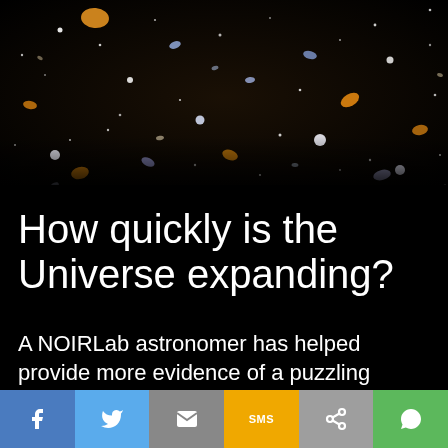[Figure (photo): Deep space photograph showing hundreds of galaxies and stars of various colors (white, blue, orange, yellow) against a black background, resembling the Hubble Deep Field image.]
How quickly is the Universe expanding?
A NOIRLab astronomer has helped provide more evidence of a puzzling discrepancy in the
[Figure (infographic): Social media sharing bar with six buttons: Facebook (blue), Twitter (light blue), Email (gray), SMS (yellow/orange), Share (gray), WhatsApp (green).]